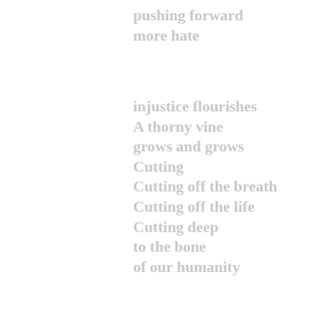pushing forward
more hate
injustice flourishes
A thorny vine
grows and grows
Cutting
Cutting off the breath
Cutting off the life
Cutting deep
to the bone
of our humanity
I can't breathe
with all the ignorance
in people
Thoughts clouded
Words corrupted
Twisted
Weaponized